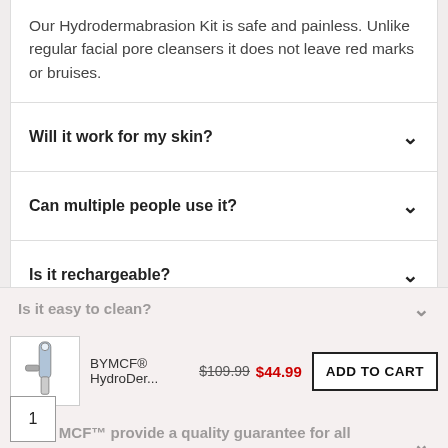Our Hydrodermabrasion Kit  is safe and painless. Unlike regular facial pore cleansers it does not leave red marks or bruises.
Will it work for my skin?
Can multiple people use it?
Is it rechargeable?
Is there more than one suction mode?
Is it easy to clean?
BYMCF® HydroDer...  $109.99  $44.99  ADD TO CART
Does MCF™ provide a quality guarantee for all the products being sold?
1